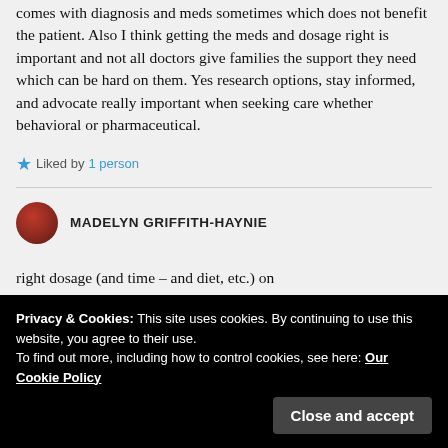comes with diagnosis and meds sometimes which does not benefit the patient. Also I think getting the meds and dosage right is important and not all doctors give families the support they need which can be hard on them. Yes research options, stay informed, and advocate really important when seeking care whether behavioral or pharmaceutical.
★ Liked by 1 person
MADELYN GRIFFITH-HAYNIE
right dosage (and time – and diet, etc.) on
Privacy & Cookies: This site uses cookies. By continuing to use this website, you agree to their use. To find out more, including how to control cookies, see here: Our Cookie Policy